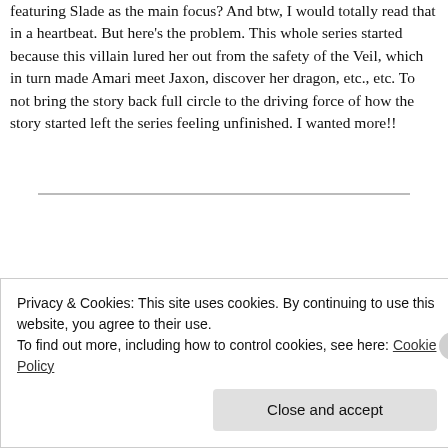featuring Slade as the main focus? And btw, I would totally read that in a heartbeat. But here's the problem. This whole series started because this villain lured her out from the safety of the Veil, which in turn made Amari meet Jaxon, discover her dragon, etc., etc. To not bring the story back full circle to the driving force of how the story started left the series feeling unfinished. I wanted more!!
[Figure (photo): A woman with brown hair pulled back, looking directly at the camera with a neutral/skeptical expression, indoors with a beige/tan background.]
Privacy & Cookies: This site uses cookies. By continuing to use this website, you agree to their use.
To find out more, including how to control cookies, see here: Cookie Policy